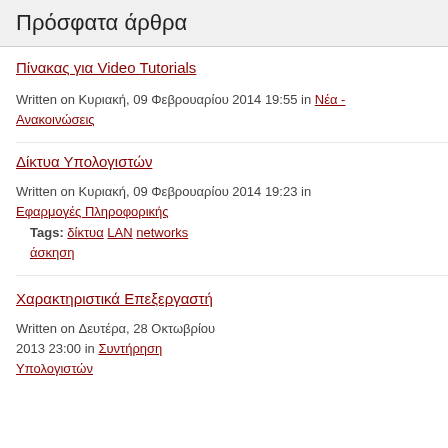Πρόσφατα άρθρα
Πίνακας για Video Tutorials
Written on Κυριακή, 09 Φεβρουαρίου 2014 19:55 in Νέα - Ανακοινώσεις
Δίκτυα Υπολογιστών
Written on Κυριακή, 09 Φεβρουαρίου 2014 19:23 in Εφαρμογές Πληροφορικής
Tags: δίκτυα LAN networks άσκηση
Χαρακτηριστικά Επεξεργαστή
Written on Δευτέρα, 28 Οκτωβρίου 2013 23:00 in Συντήρηση Υπολογιστών
Δίκτυα Υπολογιστών
Χαρακτηριστικά Επεξεργαστή
Συντήρηση Υπολογιστών Άσκηση
Visual Basic 2010 Express
More in this category:   « Εργασία τρίτη
1331 comments
Δευτέρα, 21 Μαρτίου 2014
Easy-Forex are some of the g sort, should you desire to har
Δευτέρα, 21 Μαρτίου 2014
For each successful newcome
Δευτέρα, 21 Μαρτίου 2014
http://cobbleforest.com/my
Forex is influenced by econo than commodities trading se